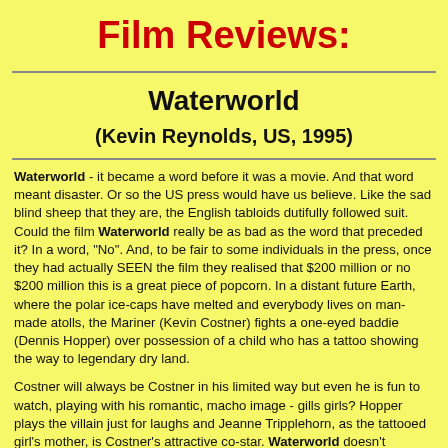Film Reviews:
Waterworld
(Kevin Reynolds, US, 1995)
Waterworld - it became a word before it was a movie. And that word meant disaster. Or so the US press would have us believe. Like the sad blind sheep that they are, the English tabloids dutifully followed suit. Could the film Waterworld really be as bad as the word that preceded it? In a word, "No". And, to be fair to some individuals in the press, once they had actually SEEN the film they realised that $200 million or no $200 million this is a great piece of popcorn. In a distant future Earth, where the polar ice-caps have melted and everybody lives on man-made atolls, the Mariner (Kevin Costner) fights a one-eyed baddie (Dennis Hopper) over possession of a child who has a tattoo showing the way to legendary dry land.
Costner will always be Costner in his limited way but even he is fun to watch, playing with his romantic, macho image - gills girls? Hopper plays the villain just for laughs and Jeanne Tripplehorn, as the tattooed girl's mother, is Costner's attractive co-star. Waterworld doesn't deserve any praise for originality, but how many truly original films appear in even a